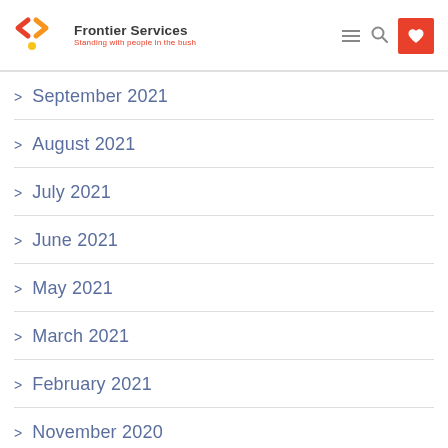Frontier Services — Standing with people in the bush
September 2021
August 2021
July 2021
June 2021
May 2021
March 2021
February 2021
November 2020